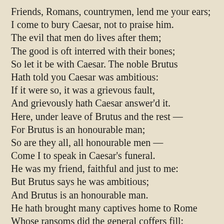Friends, Romans, countrymen, lend me your ears;
I come to bury Caesar, not to praise him.
The evil that men do lives after them;
The good is oft interred with their bones;
So let it be with Caesar. The noble Brutus
Hath told you Caesar was ambitious:
If it were so, it was a grievous fault,
And grievously hath Caesar answer'd it.
Here, under leave of Brutus and the rest —
For Brutus is an honourable man;
So are they all, all honourable men —
Come I to speak in Caesar's funeral.
He was my friend, faithful and just to me:
But Brutus says he was ambitious;
And Brutus is an honourable man.
He hath brought many captives home to Rome
Whose ransoms did the general coffers fill:
Did this in Caesar seem ambitious?
When that the poor have cried, Caesar hath wept: